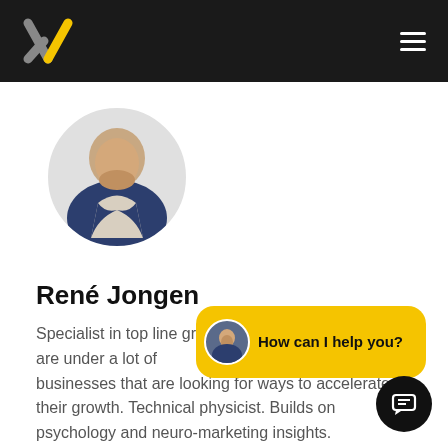X logo and navigation menu
[Figure (photo): Circular profile photo of René Jongen, a man with a beard wearing a dark blazer, smiling]
René Jongen
Specialist in top line gr... that are under a lot of c... businesses that are looking for ways to accelerate their growth. Technical physicist. Builds on psychology and neuro-marketing insights.
[Figure (infographic): Yellow chat bubble widget with small circular photo of René Jongen and text 'How can I help you?']
[Figure (illustration): Black circular chat button icon in bottom right corner]